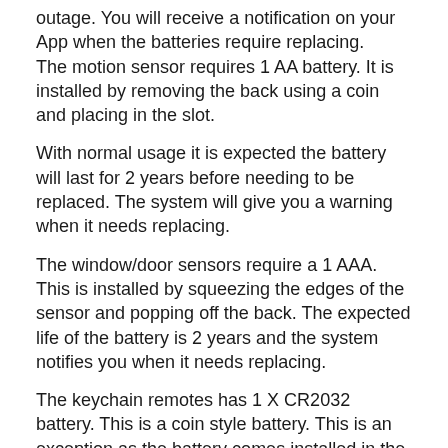outage. You will receive a notification on your App when the batteries require replacing. The motion sensor requires 1 AA battery. It is installed by removing the back using a coin and placing in the slot.
With normal usage it is expected the battery will last for 2 years before needing to be replaced. The system will give you a warning when it needs replacing.
The window/door sensors require a 1 AAA. This is installed by squeezing the edges of the sensor and popping off the back. The expected life of the battery is 2 years and the system notifies you when it needs replacing.
The keychain remotes has 1 X CR2032 battery. This is a coin style battery. This is an exception as the battery comes installed in the remote and should not require replacing for 2 years. To replace it you need to remove the back of the remote by unscrewing to small screws.